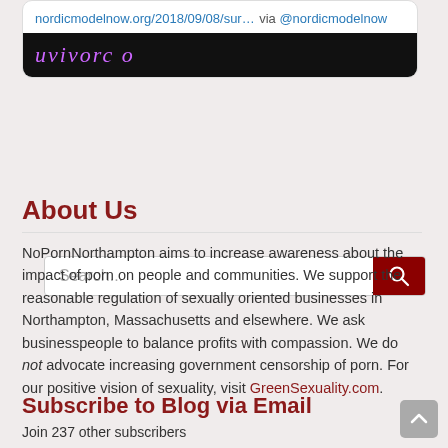[Figure (screenshot): Tweet card snippet showing a link to nordicmodelnow.org/2018/09/08/sur... via @nordicmodelnow and a dark banner image with cursive purple text]
Search...
About Us
NoPornNorthampton aims to increase awareness about the impact of porn on people and communities. We support the reasonable regulation of sexually oriented businesses in Northampton, Massachusetts and elsewhere. We ask businesspeople to balance profits with compassion. We do not advocate increasing government censorship of porn. For our positive vision of sexuality, visit GreenSexuality.com.
Subscribe to Blog via Email
Join 237 other subscribers